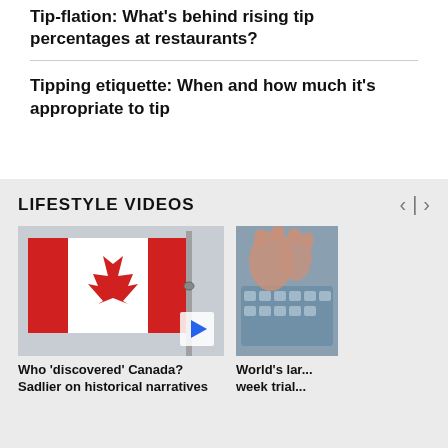Tip-flation: What's behind rising tip percentages at restaurants?
Tipping etiquette: When and how much it's appropriate to tip
LIFESTYLE VIDEOS
[Figure (photo): Canadian flag waving against grey sky with flagpole visible]
[Figure (photo): Person typing on laptop keyboard, close-up of hands]
Who 'discovered' Canada? Sadlier on historical narratives
World's lar... week trial...